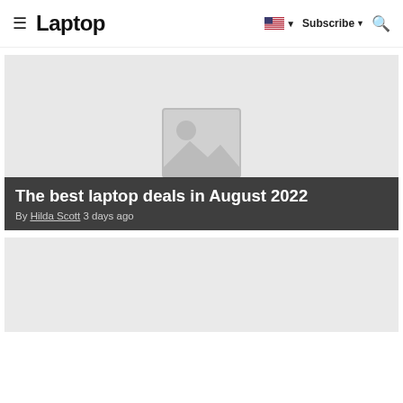Laptop
[Figure (screenshot): Hero image placeholder (gray box with image icon) for article 'The best laptop deals in August 2022']
The best laptop deals in August 2022
By Hilda Scott 3 days ago
[Figure (other): Second article card placeholder (gray box, partially visible)]